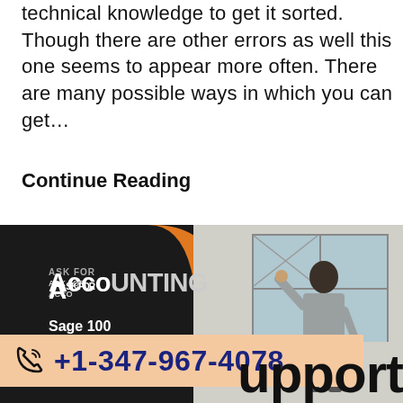technical knowledge to get it sorted. Though there are other errors as well this one seems to appear more often. There are many possible ways in which you can get…
Continue Reading
[Figure (infographic): Ask For Accounting banner showing Sage 100 Contractor Support text on dark background with orange arc design, and a woman in a blazer gesturing in an interior space]
[Figure (infographic): Phone bar with icon showing +1-347-967-4078 on peach/salmon background, and partial 'upport' text in large bold black font]